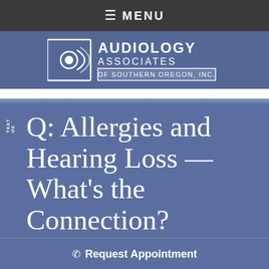≡ MENU
[Figure (logo): Audiology Associates of Southern Oregon, Inc. logo with ear/sound wave icon]
Q: Allergies and Hearing Loss — What's the Connection?
TEXT US
Request Appointment